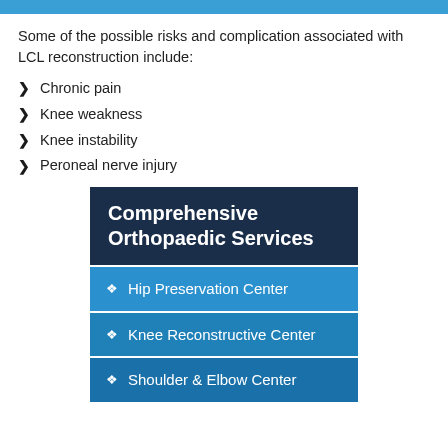Some of the possible risks and complication associated with LCL reconstruction include:
Chronic pain
Knee weakness
Knee instability
Peroneal nerve injury
[Figure (infographic): Dark navy blue box with bold white heading 'Comprehensive Orthopaedic Services' followed by three blue rows listing: Hip Preservation Center, Knee Reconstructive Center, Shoulder & Elbow Center, each preceded by a diamond bullet.]